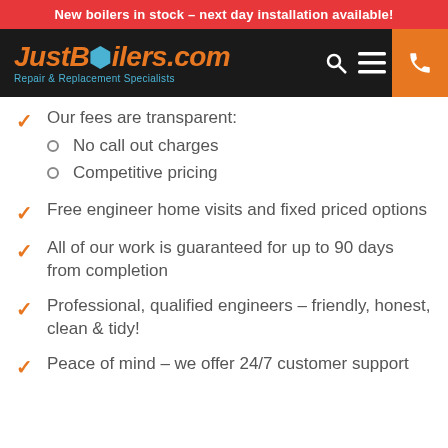New boilers in stock – next day installation available!
[Figure (logo): JustBoilers.com logo with tagline Repair & Replacement Specialists on black navigation bar with search, menu, and phone icons]
Our fees are transparent: No call out charges, Competitive pricing
Free engineer home visits and fixed priced options
All of our work is guaranteed for up to 90 days from completion
Professional, qualified engineers – friendly, honest, clean & tidy!
Peace of mind – we offer 24/7 customer support